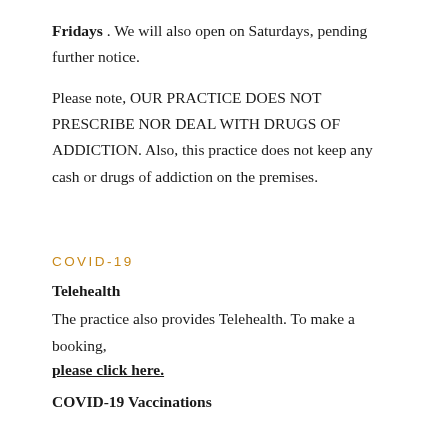Fridays . We will also open on Saturdays, pending further notice.
Please note, OUR PRACTICE DOES NOT PRESCRIBE NOR DEAL WITH DRUGS OF ADDICTION. Also, this practice does not keep any cash or drugs of addiction on the premises.
COVID-19
Telehealth
The practice also provides Telehealth. To make a booking, please click here.
COVID-19 Vaccinations